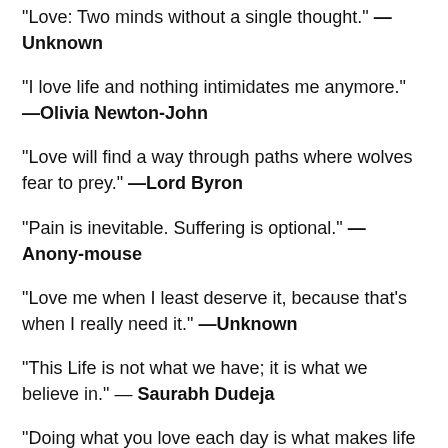“Love: Two minds without a single thought.” —Unknown
“I love life and nothing intimidates me anymore.” —Olivia Newton-John
“Love will find a way through paths where wolves fear to prey.” —Lord Byron
“Pain is inevitable. Suffering is optional.” —Anony-mouse
“Love me when I least deserve it, because that’s when I really need it.” —Unknown
“This Life is not what we have; it is what we believe in.” —Saurabh Dudeja
“Doing what you love each day is what makes life worth living.” —Unknown